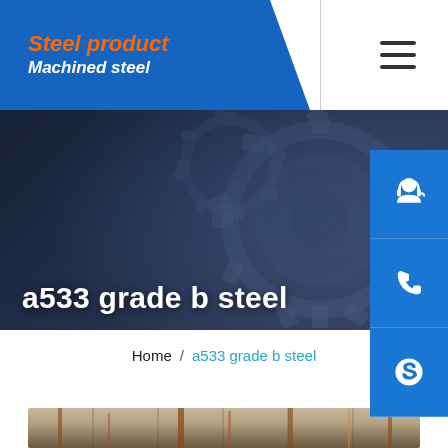Steel product / Machined steel
a533 grade b steel
Home / a533 grade b steel
[Figure (photo): Close-up photo of rusty/weathered steel plates with brown rust streaks on metallic surface.]